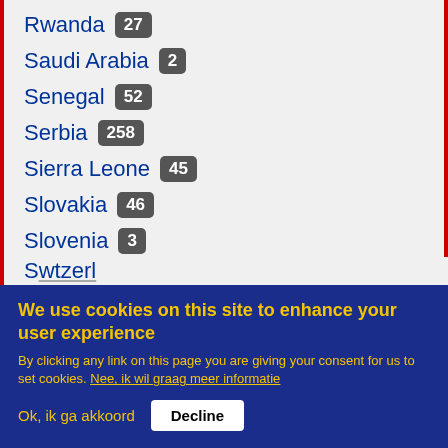Rwanda 27
Saudi Arabia 2
Senegal 52
Serbia 258
Sierra Leone 45
Slovakia 46
Slovenia 3
Somalia 171
South Africa 8
South Korea 2
Spain 14
We use cookies on this site to enhance your user experience
By clicking any link on this page you are giving your consent for us to set cookies. Nee, ik wil graag meer informatie
Ok, ik ga akkoord  Decline